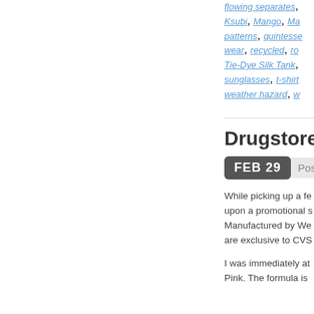flowing separates, Ksubi, Mango, Ma... patterns, quintesse... wear, recycled, ro... Tie-Dye Silk Tank,... sunglasses, t-shirt weather hazard, w...
Drugstore F...
FEB 29   Posted b...
While picking up a fe... upon a promotional s... Manufactured by We... are exclusive to CVS...
I was immediately at... Pink. The formula is...